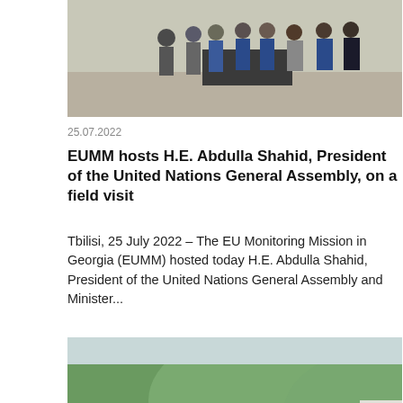[Figure (photo): Group of people in blue vests standing outdoors around a table with documents, at a field site with gravel ground.]
25.07.2022
EUMM hosts H.E. Abdulla Shahid, President of the United Nations General Assembly, on a field visit
Tbilisi, 25 July 2022 – The EU Monitoring Mission in Georgia (EUMM) hosted today H.E. Abdulla Shahid, President of the United Nations General Assembly and Minister...
[Figure (photo): Group of people standing outdoors near vehicles with green hills in the background, some wearing blue EU-branded jackets, having a briefing or discussion.]